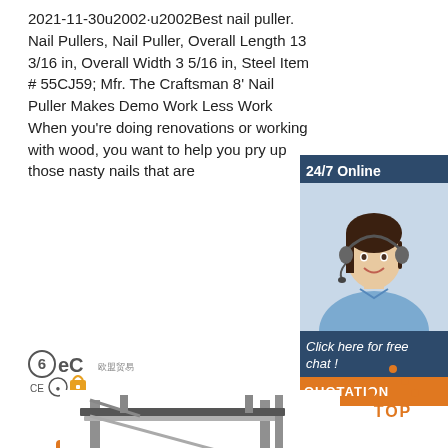2021-11-30u2002·u2002Best nail puller. Nail Pullers, Nail Puller, Overall Length 13 3/16 in, Overall Width 3 5/16 in, Steel Item # 55CJ59; Mfr. The Craftsman 8' Nail Puller Makes Demo Work Less Work When you're doing renovations or working with wood, you want to help you pry up those nasty nails that are
[Figure (other): Orange 'Get Price' button]
[Figure (other): Sidebar with '24/7 Online' label, photo of customer service representative with headset, 'Click here for free chat!' text, and orange QUOTATION button]
[Figure (logo): 6eC brand logo with CE and certification icons]
[Figure (photo): Industrial metal shelving/rack unit product photo]
[Figure (other): Orange 'TOP' button with arrow icon]